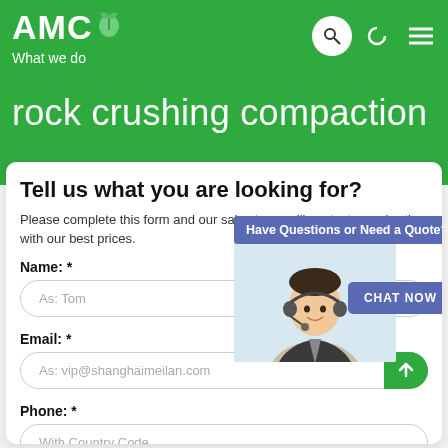AMC What we do
rock crushing compaction
Tell us what you are looking for?
Please complete this form and our sales team will contact you shortly with our best prices.
[Figure (screenshot): Live Chat popup with banner 'Have Questions or Need a Quote?' and a customer service agent photo with 'CHAT NOW' button and 'Live Chat' bubble icon]
Name: *
As: Tom
Email: *
As: vip@shanghaimeilan.com
Phone: *
With Country Code